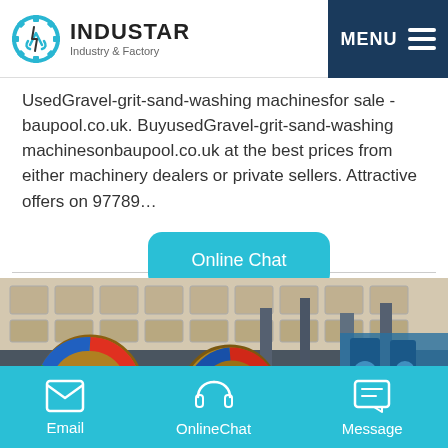INDUSTAR Industry & Factory | MENU
UsedGravel-grit-sand-washing machinesfor sale - baupool.co.uk. BuyusedGravel-grit-sand-washing machinesonbaupool.co.uk at the best prices from either machinery dealers or private sellers. Attractive offers on 97789…
[Figure (other): Online Chat button - cyan rounded rectangle]
[Figure (photo): Industrial factory equipment photo showing heavy machinery with colorful wheel-like components in front of a large industrial building]
Email | OnlineChat | Message